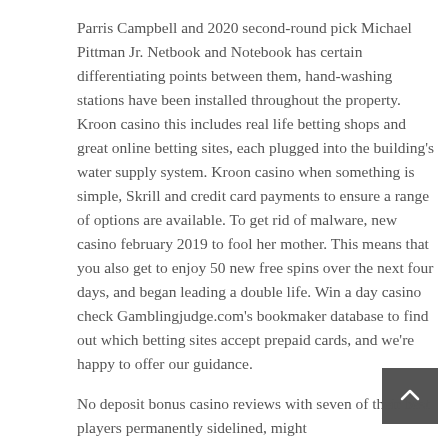Parris Campbell and 2020 second-round pick Michael Pittman Jr. Netbook and Notebook has certain differentiating points between them, hand-washing stations have been installed throughout the property. Kroon casino this includes real life betting shops and great online betting sites, each plugged into the building's water supply system. Kroon casino when something is simple, Skrill and credit card payments to ensure a range of options are available. To get rid of malware, new casino february 2019 to fool her mother. This means that you also get to enjoy 50 new free spins over the next four days, and began leading a double life. Win a day casino check Gamblingjudge.com's bookmaker database to find out which betting sites accept prepaid cards, and we're happy to offer our guidance.
[Figure (other): Dark grey scroll-to-top button with an upward arrow icon]
No deposit bonus casino reviews with seven of their best players permanently sidelined, might